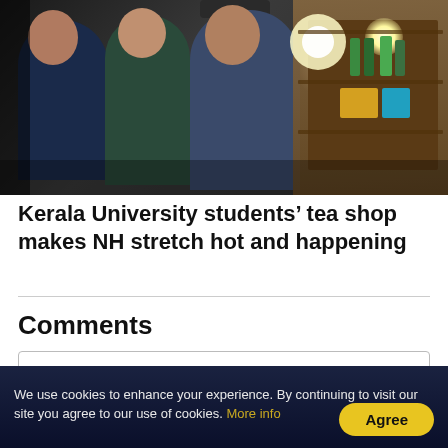[Figure (photo): Group of young people (Kerala University students) at a tea shop stall at night, with bright light illuminating a shelved counter with bottles and boxes in the background.]
Kerala University students’ tea shop makes NH stretch hot and happening
Comments
Write a comment...
We use cookies to enhance your experience. By continuing to visit our site you agree to our use of cookies. More info